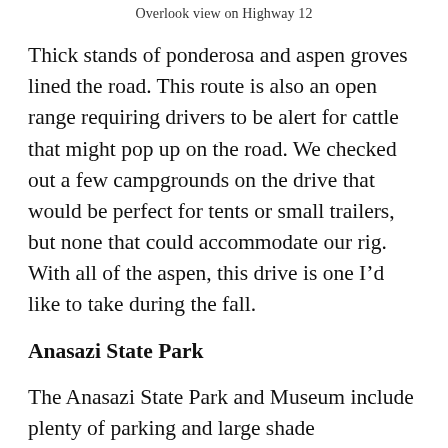Overlook view on Highway 12
Thick stands of ponderosa and aspen groves lined the road. This route is also an open range requiring drivers to be alert for cattle that might pop up on the road. We checked out a few campgrounds on the drive that would be perfect for tents or small trailers, but none that could accommodate our rig. With all of the aspen, this drive is one I'd like to take during the fall.
Anasazi State Park
The Anasazi State Park and Museum include plenty of parking and large shade